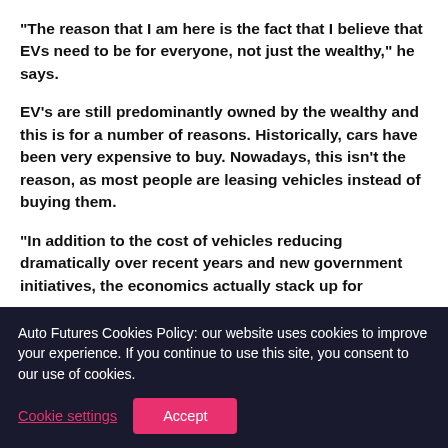“The reason that I am here is the fact that I believe that EVs need to be for everyone, not just the wealthy,” he says.
EV’s are still predominantly owned by the wealthy and this is for a number of reasons. Historically, cars have been very expensive to buy. Nowadays, this isn’t the reason, as most people are leasing vehicles instead of buying them.
“In addition to the cost of vehicles reducing dramatically over recent years and new government initiatives, the economics actually stack up for
Auto Futures Cookies Policy: our website uses cookies to improve your experience. If you continue to use this site, you consent to our use of cookies.
Cookie settings
Accept